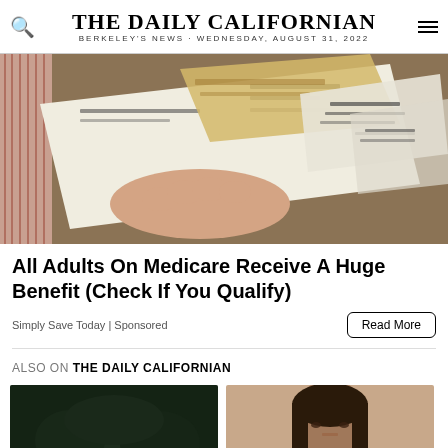THE DAILY CALIFORNIAN
BERKELEY'S NEWS · WEDNESDAY, AUGUST 31, 2022
[Figure (photo): A hand holding papers that look like checks or financial documents, fanned out on a surface]
All Adults On Medicare Receive A Huge Benefit (Check If You Qualify)
Simply Save Today | Sponsored
Also On THE DAILY CALIFORNIAN
[Figure (photo): Dark nighttime outdoor scene with trees]
[Figure (photo): Portrait of a person with dark hair]